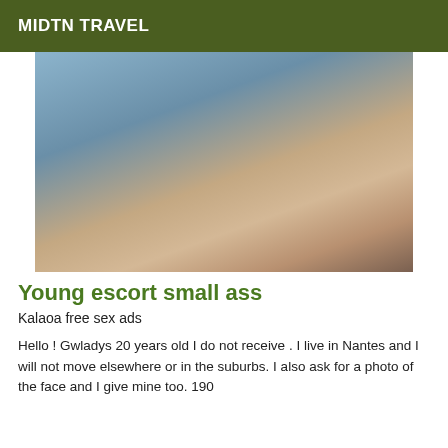MIDTN TRAVEL
[Figure (photo): Photo of a person posing on a blue background]
Young escort small ass
Kalaoa free sex ads
Hello ! Gwladys 20 years old I do not receive . I live in Nantes and I will not move elsewhere or in the suburbs. I also ask for a photo of the face and I give mine too. 190